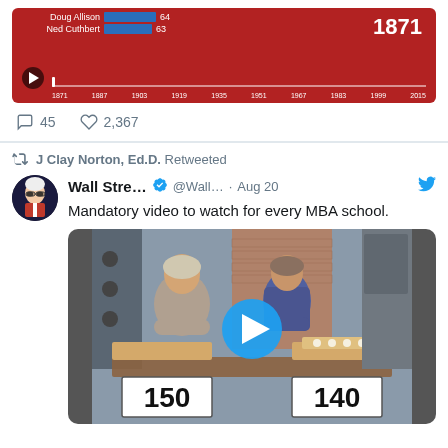[Figure (screenshot): Partial tweet with video embed showing a historical baseball statistics chart on red background with year 1871, names Doug Allison (64) and Ned Cuthbert (63), timeline from 1871 to 2015, play button, engagement: 45 comments, 2367 likes]
J Clay Norton, Ed.D. Retweeted
Wall Stre… @Wall… · Aug 20
Mandatory video to watch for every MBA school.
[Figure (photo): Video thumbnail showing two women standing behind a market stand with egg cartons. Price signs visible: 150 and 140. A blue circular play button is overlaid in the center.]